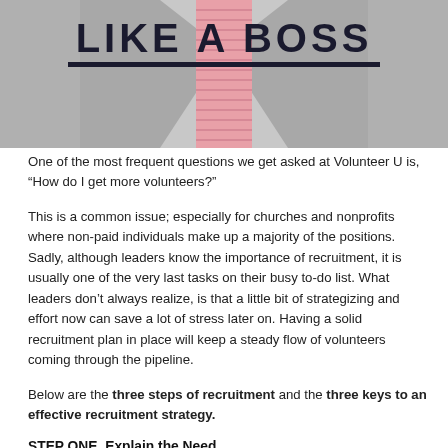[Figure (photo): Top portion of a book cover or banner image showing bold text 'LIKE A BOSS' in dark letters with a horizontal black underline, overlaid on a background of a person in a grey suit with a pink tie, partially cropped]
One of the most frequent questions we get asked at Volunteer U is, “How do I get more volunteers?”
This is a common issue; especially for churches and nonprofits where non-paid individuals make up a majority of the positions. Sadly, although leaders know the importance of recruitment, it is usually one of the very last tasks on their busy to-do list. What leaders don’t always realize, is that a little bit of strategizing and effort now can save a lot of stress later on. Having a solid recruitment plan in place will keep a steady flow of volunteers coming through the pipeline.
Below are the three steps of recruitment and the three keys to an effective recruitment strategy.
STEP ONE. Explain the Need